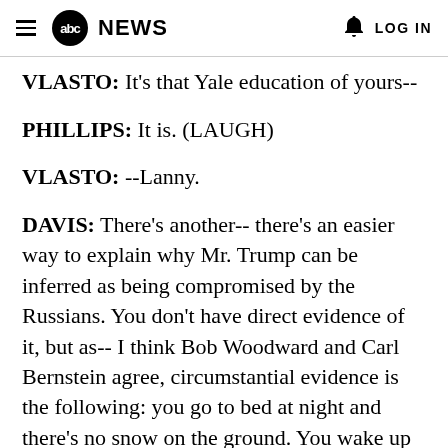abc NEWS   LOG IN
VLASTO: It's that Yale education of yours--
PHILLIPS: It is. (LAUGH)
VLASTO: --Lanny.
DAVIS: There's another-- there's an easier way to explain why Mr. Trump can be inferred as being compromised by the Russians. You don't have direct evidence of it, but as-- I think Bob Woodward and Carl Bernstein agree, circumstantial evidence is the following: you go to bed at night and there's no snow on the ground. You wake up in the morning and there's snow on the ground. Would a jury